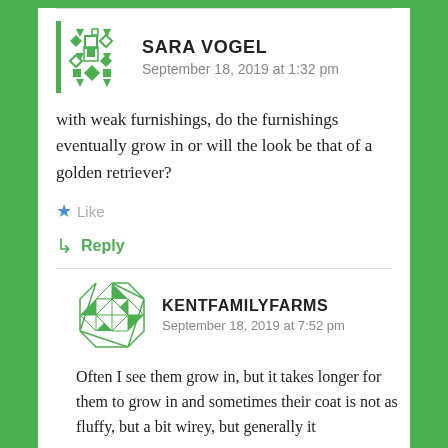[Figure (illustration): Sara Vogel avatar — green geometric pattern with triangles and diamonds on white background with green left border]
SARA VOGEL
September 18, 2019 at 1:32 pm
with weak furnishings, do the furnishings eventually grow in or will the look be that of a golden retriever?
Like
Reply
[Figure (illustration): KentFamilyFarms avatar — green and white triangular mosaic in circular arrangement]
KENTFAMILYFARMS
September 18, 2019 at 7:52 pm
Often I see them grow in, but it takes longer for them to grow in and sometimes their coat is not as fluffy, but a bit wirey, but generally it